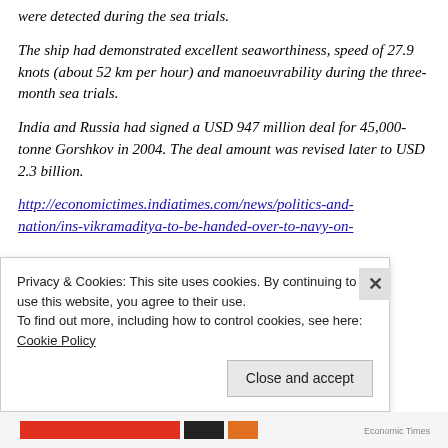were detected during the sea trials.
The ship had demonstrated excellent seaworthiness, speed of 27.9 knots (about 52 km per hour) and manoeuvrability during the three-month sea trials.
India and Russia had signed a USD 947 million deal for 45,000-tonne Gorshkov in 2004. The deal amount was revised later to USD 2.3 billion.
http://economictimes.indiatimes.com/news/politics-and-nation/ins-vikramaditya-to-be-handed-over-to-navy-on-
Privacy & Cookies: This site uses cookies. By continuing to use this website, you agree to their use.
To find out more, including how to control cookies, see here: Cookie Policy